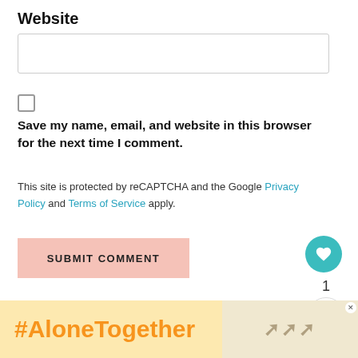Website
Save my name, email, and website in this browser for the next time I comment.
This site is protected by reCAPTCHA and the Google Privacy Policy and Terms of Service apply.
SUBMIT COMMENT
1
← Craft Beer Tour NYC
WHAT'S NEXT → NYBG Orchid Evenings
Diner En Blanc →
[Figure (other): #AloneTogether advertisement banner in yellow/gold background]
[Figure (photo): Small ad image of woman eating]